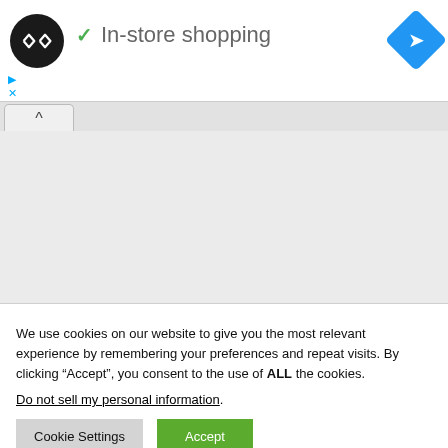[Figure (logo): Black circular logo with double infinity/arrow symbol in white, next to a green checkmark and 'In-store shopping' text, with a blue navigation diamond icon on the right]
We use cookies on our website to give you the most relevant experience by remembering your preferences and repeat visits. By clicking “Accept”, you consent to the use of ALL the cookies.
Do not sell my personal information.
Cookie Settings  Accept